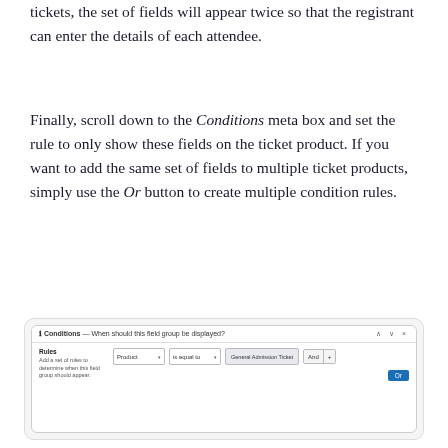tickets, the set of fields will appear twice so that the registrant can enter the details of each attendee.
Finally, scroll down to the Conditions meta box and set the rule to only show these fields on the ticket product. If you want to add the same set of fields to multiple ticket products, simply use the Or button to create multiple condition rules.
[Figure (screenshot): Screenshot of a Conditions meta box UI showing a Rules section with a Product dropdown set to 'is equal to' 'General Admission Ticket', with And/+ and Or buttons.]